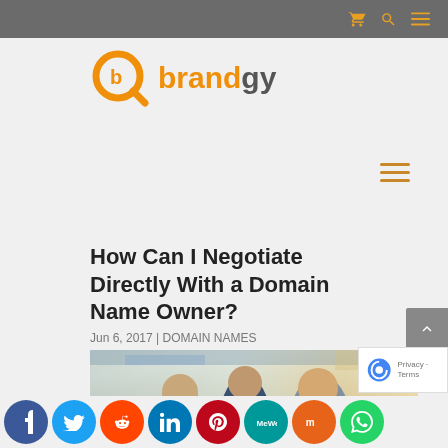brandgy — navigation bar with cart, search, menu icons
[Figure (logo): Brandgy logo — orange magnifying glass with 'b' icon and 'brandgy' text in orange and dark grey]
[Figure (other): Hamburger menu icon (three horizontal orange lines) on right side]
How Can I Negotiate Directly With a Domain Name Owner?
Jun 6, 2017 | DOMAIN NAMES
[Figure (photo): Photo of two businessmen in suits, one smiling and facing camera, in an office environment]
Social share icons: Facebook, Twitter, Reddit, LinkedIn, Pinterest, MeWe, Mix, WhatsApp